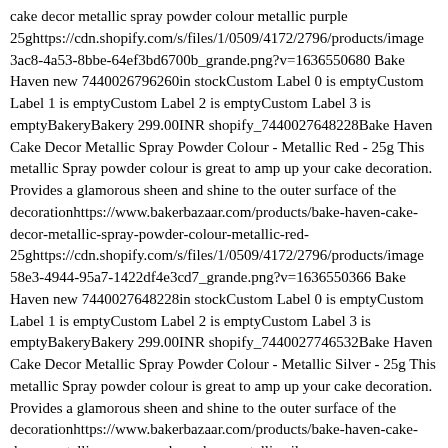cake decor metallic spray powder colour metallic purple 25ghttps://cdn.shopify.com/s/files/1/0509/4172/2796/products/image 3ac8-4a53-8bbe-64ef3bd6700b_grande.png?v=1636550680 Bake Haven new 7440026796260in stockCustom Label 0 is emptyCustom Label 1 is emptyCustom Label 2 is emptyCustom Label 3 is emptyBakeryBakery 299.00INR shopify_7440027648228Bake Haven Cake Decor Metallic Spray Powder Colour - Metallic Red - 25g This metallic Spray powder colour is great to amp up your cake decoration. Provides a glamorous sheen and shine to the outer surface of the decorationhttps://www.bakerbazaar.com/products/bake-haven-cake-decor-metallic-spray-powder-colour-metallic-red-25ghttps://cdn.shopify.com/s/files/1/0509/4172/2796/products/image 58e3-4944-95a7-1422df4e3cd7_grande.png?v=1636550366 Bake Haven new 7440027648228in stockCustom Label 0 is emptyCustom Label 1 is emptyCustom Label 2 is emptyCustom Label 3 is emptyBakeryBakery 299.00INR shopify_7440027746532Bake Haven Cake Decor Metallic Spray Powder Colour - Metallic Silver - 25g This metallic Spray powder colour is great to amp up your cake decoration. Provides a glamorous sheen and shine to the outer surface of the decorationhttps://www.bakerbazaar.com/products/bake-haven-cake-decor-metallic-spray-powder-colour-metallic-silver-25ghttps://cdn.shopify.com/s/files/1/0509/4172/2796/products/image 486d-4e33-8fde-b65251209e26_grande.png?v=1636550328 Bake Haven new 7440027746532in stockCustom Label 0 is